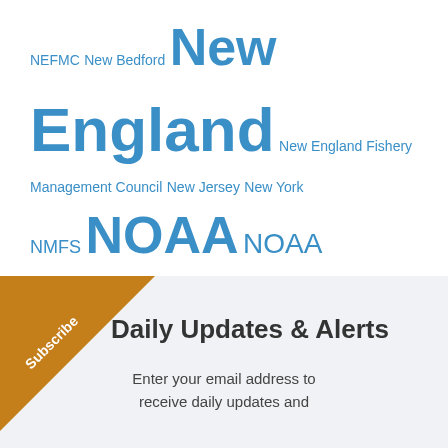NEFMC New Bedford New England New England Fishery Management Council New Jersey New York NMFS NOAA NOAA Fisheries North Atlantic right whales North Carolina North Pacific offshore energy Offshore wind Pacific right whales Salmon Scallops South Atlantic Tuna Western Pacific Whales wind energy Wind Farms
[Figure (infographic): Subscribe banner with orange diagonal ribbon in top-left corner labeled 'Subscribe', followed by 'Daily Updates & Alerts' heading and text 'Enter your email address to receive daily updates and']